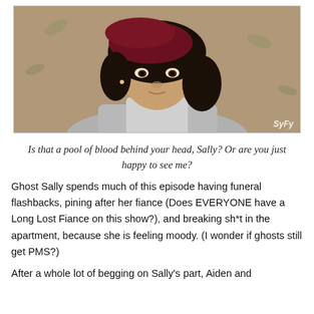[Figure (photo): A young woman with curly dark hair and a dark red beret lying on her back looking up at the camera, wearing a gray top and sweater. The image has a 'SyFy' watermark in the bottom right corner.]
Is that a pool of blood behind your head, Sally?  Or are you just happy to see me?
Ghost Sally spends much of this episode having funeral flashbacks, pining after her fiance (Does EVERYONE have a Long Lost Fiance on this show?), and breaking sh*t in the apartment, because she is feeling moody.  (I wonder if ghosts still get PMS?)
After a whole lot of begging on Sally's part, Aiden and